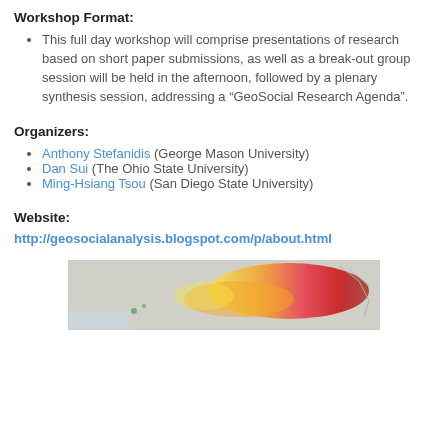Workshop Format:
This full day workshop will comprise presentations of research based on short paper submissions, as well as a break-out group session will be held in the afternoon, followed by a plenary synthesis session, addressing a “GeoSocial Research Agenda”.
Organizers:
Anthony Stefanidis (George Mason University)
Dan Sui (The Ohio State University)
Ming-Hsiang Tsou (San Diego State University)
Website:
http://geosocialanalysis.blogspot.com/p/about.html
[Figure (map): A map image partially visible at the bottom of the page, showing a geographic heat map with red/orange/yellow color gradient over a geographic region.]